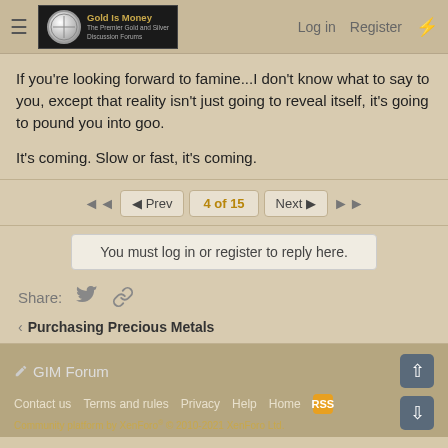Gold Is Money — The Premier Gold and Silver Discussion Forums | Log in | Register
If you're looking forward to famine...I don't know what to say to you, except that reality isn't just going to reveal itself, it's going to pound you into goo.
It's coming. Slow or fast, it's coming.
◄◄  ◄ Prev  4 of 15  Next ►  ►►
You must log in or register to reply here.
Share:
< Purchasing Precious Metals
GIM Forum | Contact us | Terms and rules | Privacy | Help | Home | Community platform by XenForo® © 2010-2021 XenForo Ltd.